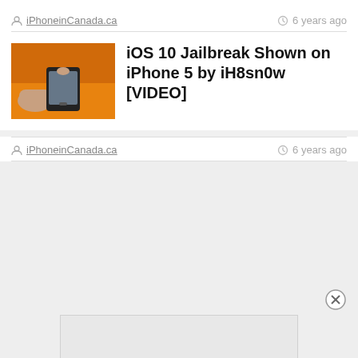iPhoneinCanada.ca   6 years ago
[Figure (photo): Thumbnail image showing hands holding an iPhone on an orange background]
iOS 10 Jailbreak Shown on iPhone 5 by iH8sn0w [VIDEO]
iPhoneinCanada.ca   6 years ago
[Figure (screenshot): Gray empty area with a close/dismiss button (circled X) and a white advertisement box at the bottom]